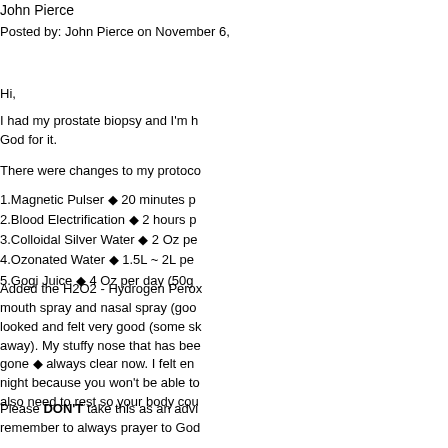John Pierce
Posted by: John Pierce on November 6,
Hi,
I had my prostate biopsy and I'm h... God for it.
There were changes to my protoco...
1.Magnetic Pulser ◆ 20 minutes p
2.Blood Electrification ◆ 2 hours p
3.Colloidal Silver Water ◆ 2 Oz pe
4.Ozonated Water ◆ 1.5L ~ 2L pe
5.Gogi Juice ◆ 4 Oz per day (50g
Added the H2O2 - Hydrogen Perox... mouth spray and nasal spray (goo... looked and felt very good (some sk... away). My stuffy nose that has bee... gone ◆ always clear now. I felt en... night because you won't be able to... also need to rest so your body cou...
Please DON'T take this as an advi... remember to always prayer to God...